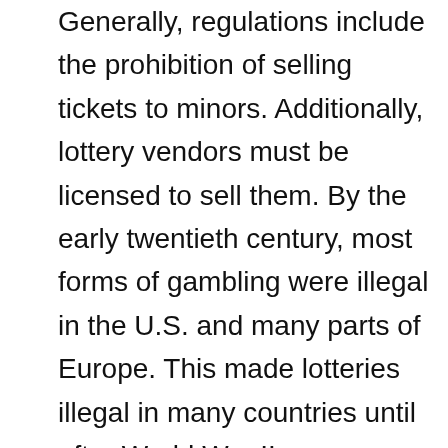Generally, regulations include the prohibition of selling tickets to minors. Additionally, lottery vendors must be licensed to sell them. By the early twentieth century, most forms of gambling were illegal in the U.S. and many parts of Europe. This made lotteries illegal in many countries until after World War II. Nevertheless, the economic benefits of lotteries cannot be underestimated.
The popularity of lottery games has prompted people to try their luck online. Online gambling and sports betting have also led many to try their luck in the lottery. Many togel games have websites where they inform